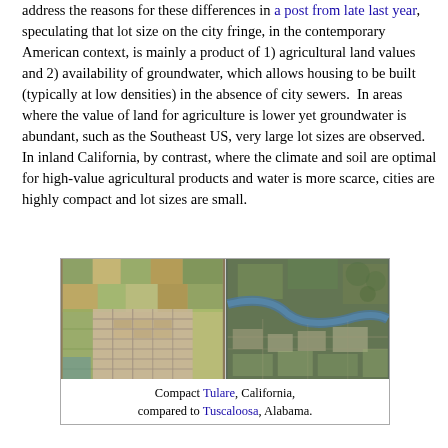address the reasons for these differences in a post from late last year, speculating that lot size on the city fringe, in the contemporary American context, is mainly a product of 1) agricultural land values and 2) availability of groundwater, which allows housing to be built (typically at low densities) in the absence of city sewers.  In areas where the value of land for agriculture is lower yet groundwater is abundant, such as the Southeast US, very large lot sizes are observed.  In inland California, by contrast, where the climate and soil are optimal for high-value agricultural products and water is more scarce, cities are highly compact and lot sizes are small.
[Figure (photo): Side-by-side aerial satellite images comparing compact Tulare, California (left) with Tuscaloosa, Alabama (right), illustrating differences in lot size and urban density]
Compact Tulare, California, compared to Tuscaloosa, Alabama.